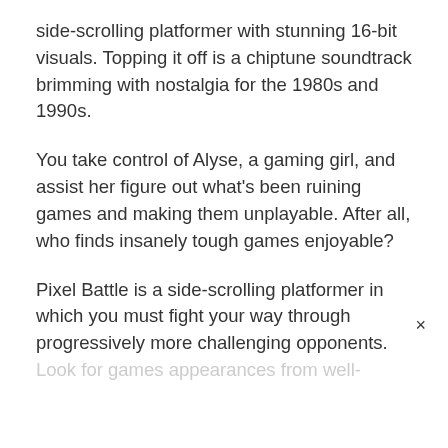side-scrolling platformer with stunning 16-bit visuals. Topping it off is a chiptune soundtrack brimming with nostalgia for the 1980s and 1990s.
You take control of Alyse, a gaming girl, and assist her figure out what's been ruining games and making them unplayable. After all, who finds insanely tough games enjoyable?
Pixel Battle is a side-scrolling platformer in which you must fight your way through progressively more challenging opponents. Look for games appearances from well-